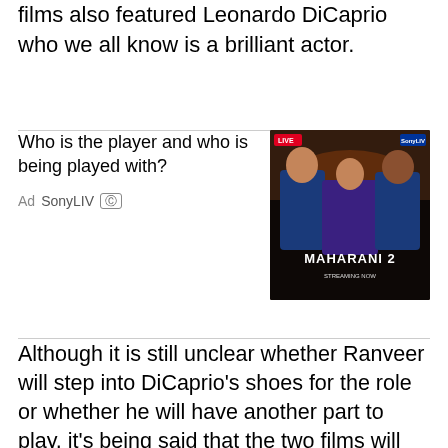films also featured Leonardo DiCaprio who we all know is a brilliant actor.
[Figure (other): Advertisement for SonyLIV's Maharani 2 streaming show, showing text 'Who is the player and who is being played with?' with Ad SonyLIV label and close button, alongside a movie poster image for Maharani 2.]
Although it is still unclear whether Ranveer will step into DiCaprio's shoes for the role or whether he will have another part to play, it's being said that the two films will be adapted in a way that it fits into Mumbai's atmosphere. A source also revealed to them exclusively, “Zoya’s next will be a two-hero film and she is looking at buying the remake rights of a Hollywood gangster film very much like 'The Departed' or 'Gangs of New York'. She wants to take a film and adapt it for our desi audience, and it will be set in Mumbai too. She is also on the lookout for the second lead.” Well,